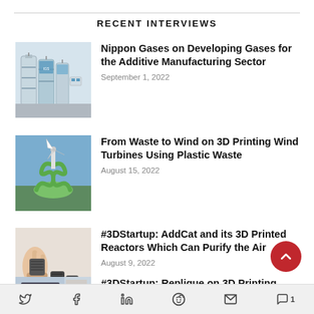RECENT INTERVIEWS
[Figure (photo): Industrial gas cylinders/equipment in a facility]
Nippon Gases on Developing Gases for the Additive Manufacturing Sector
September 1, 2022
[Figure (photo): Wind turbine structure with green spiral base outdoors]
From Waste to Wind on 3D Printing Wind Turbines Using Plastic Waste
August 15, 2022
[Figure (photo): Hand holding small cylindrical 3D printed reactor components]
#3DStartup: AddCat and its 3D Printed Reactors Which Can Purify the Air
August 9, 2022
[Figure (photo): Partial thumbnail of next interview item]
#3DStartup: Replique on 3D Printing